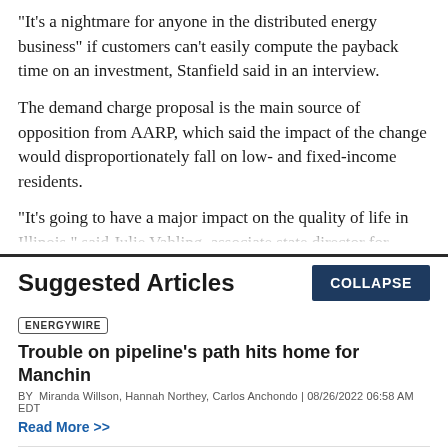"It's a nightmare for anyone in the distributed energy business" if customers can't easily compute the payback time on an investment, Stanfield said in an interview.
The demand charge proposal is the main source of opposition from AARP, which said the impact of the change would disproportionately fall on low- and fixed-income residents.
"It's going to have a major impact on the quality of life in Illinois," said Julie Vahling, associate state director for
Suggested Articles
ENERGYWIRE
Trouble on pipeline's path hits home for Manchin
BY Miranda Willson, Hannah Northey, Carlos Anchondo | 08/26/2022 06:58 AM EDT
Read More >>
ENERGYWIRE
Gulf shrimpers brace for offshore wind